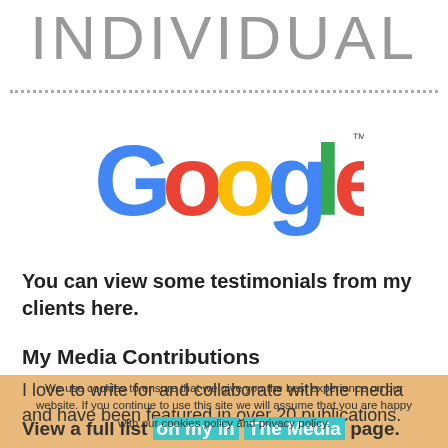INDIVIDUAL
[Figure (logo): Google logo with colorful letters: blue G, red o, yellow o, blue g, green l, red e, with TM superscript]
You can view some testimonials from my clients here.
My Media Contributions
I love to write for and collaborate with the media and have been featured in over 20 publications.
View a full list on my in The Media page.
We use cookies to ensure that we give you the best experience on our website. If you continue to use this site we will assume that you are happy with our cookies policy and privacy policy.